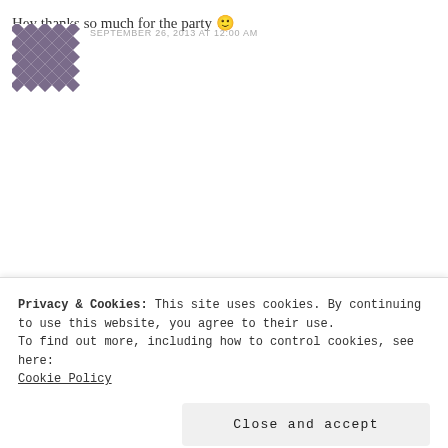[Figure (illustration): Purple geometric diamond/checker pattern avatar image]
SEPTEMBER 26, 2013 AT 12:00 AM
Hey thanks so much for the party 🙂
Reply
[Figure (illustration): Dark navy blue geometric/star pattern avatar image for Ruchira]
RUCHIRA says
SEPTEMBER 25, 2013 AT 10:20 PM
Privacy & Cookies: This site uses cookies. By continuing to use this website, you agree to their use.
To find out more, including how to control cookies, see here:
Cookie Policy
Close and accept